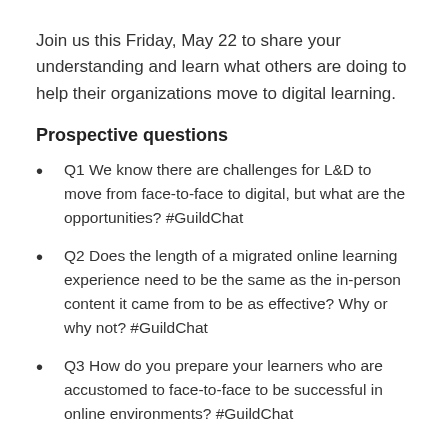Join us this Friday, May 22 to share your understanding and learn what others are doing to help their organizations move to digital learning.
Prospective questions
Q1 We know there are challenges for L&D to move from face-to-face to digital, but what are the opportunities? #GuildChat
Q2 Does the length of a migrated online learning experience need to be the same as the in-person content it came from to be as effective? Why or why not? #GuildChat
Q3 How do you prepare your learners who are accustomed to face-to-face to be successful in online environments? #GuildChat